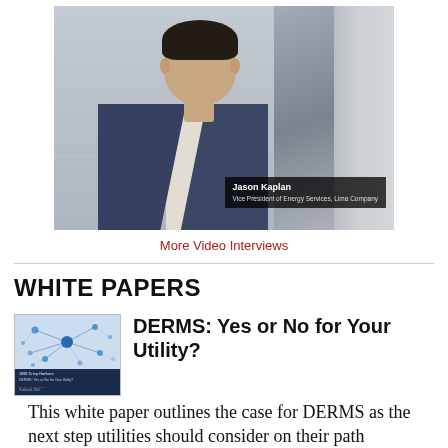[Figure (photo): Video thumbnail showing Jason Kaplan, Vice President of Energy Services, Lima Company, seated in business attire with a name badge overlay.]
More Video Interviews
WHITE PAPERS
[Figure (illustration): Thumbnail image for white paper showing a network diagram with nodes and connections on a dark blue background.]
DERMS: Yes or No for Your Utility?
This white paper outlines the case for DERMS as the next step utilities should consider on their path towards